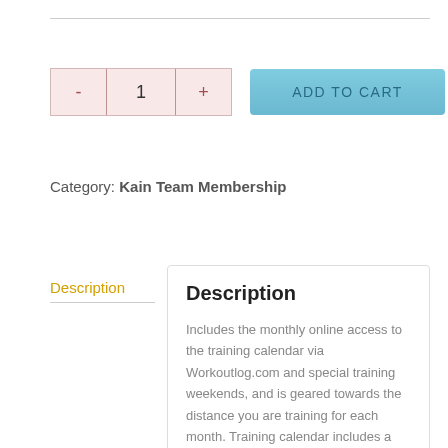[Figure (screenshot): Quantity selector with minus button, value 1, and plus button in a pink/rose-colored control]
[Figure (screenshot): Blue 'ADD TO CART' button]
Category: Kain Team Membership
Description
Description
Includes the monthly online access to the training calendar via Workoutlog.com and special training weekends, and is geared towards the distance you are training for each month. Training calendar includes a detailed workout schedule for all levels of athletes as well as a detailed description